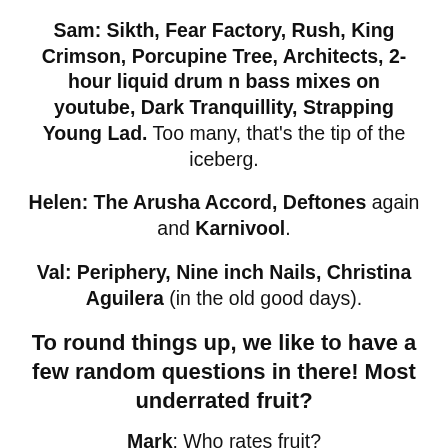Sam: Sikth, Fear Factory, Rush, King Crimson, Porcupine Tree, Architects, 2-hour liquid drum n bass mixes on youtube, Dark Tranquillity, Strapping Young Lad. Too many, that's the tip of the iceberg.
Helen: The Arusha Accord, Deftones again and Karnivool.
Val: Periphery, Nine inch Nails, Christina Aguilera (in the old good days).
To round things up, we like to have a few random questions in there! Most underrated fruit?
Mark: Who rates fruit?